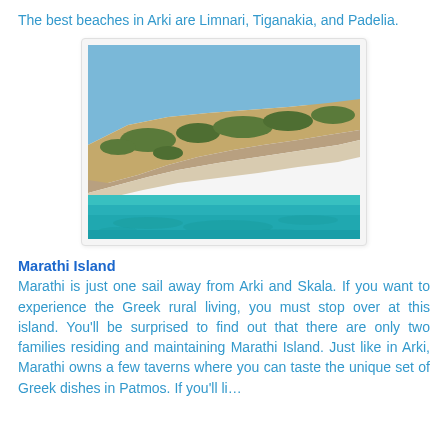The best beaches in Arki are Limnari, Tiganakia, and Padelia.
[Figure (photo): Aerial/sea-level view of a rocky island shoreline with green scrubland on top and vivid turquoise clear shallow water in the foreground.]
Marathi Island
Marathi is just one sail away from Arki and Skala. If you want to experience the Greek rural living, you must stop over at this island. You'll be surprised to find out that there are only two families residing and maintaining Marathi Island. Just like in Arki, Marathi owns a few taverns where you can taste the unique set of Greek dishes in Patmos. If you'll li…